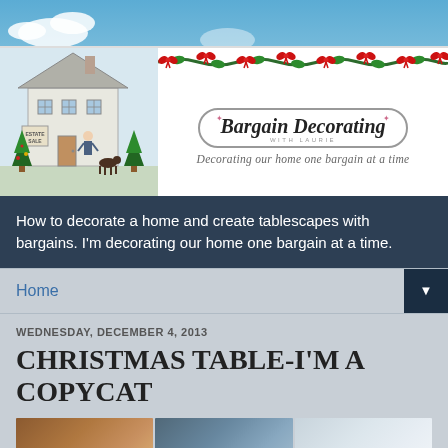[Figure (illustration): Bargain Decorating with Laurie blog header banner. Features a Victorian house illustration with Christmas trees and 'Estate Sale' sign on the left, and an oval logo reading 'Bargain Decorating with Laurie - Decorating our home one bargain at a time' on the right, with a Christmas garland and red bows across the top.]
How to decorate a home and create tablescapes with bargains. I'm decorating our home one bargain at a time.
Home
WEDNESDAY, DECEMBER 4, 2013
CHRISTMAS TABLE-I'M A COPYCAT
[Figure (photo): Three thumbnail photos of Christmas table decorations]